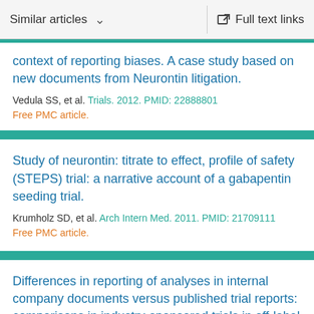Similar articles    Full text links
context of reporting biases. A case study based on new documents from Neurontin litigation.
Vedula SS, et al. Trials. 2012. PMID: 22888801
Free PMC article.
Study of neurontin: titrate to effect, profile of safety (STEPS) trial: a narrative account of a gabapentin seeding trial.
Krumholz SD, et al. Arch Intern Med. 2011. PMID: 21709111
Free PMC article.
Differences in reporting of analyses in internal company documents versus published trial reports: comparisons in industry-sponsored trials in off-label uses of gabapentin.